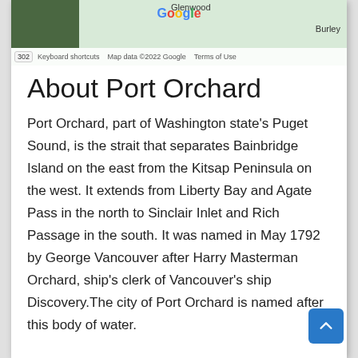[Figure (map): Partial Google Maps view showing Glenwood and Burley areas, with map attribution bar showing keyboard shortcuts, Map data ©2022 Google, Terms of Use]
About Port Orchard
Port Orchard, part of Washington state's Puget Sound, is the strait that separates Bainbridge Island on the east from the Kitsap Peninsula on the west. It extends from Liberty Bay and Agate Pass in the north to Sinclair Inlet and Rich Passage in the south. It was named in May 1792 by George Vancouver after Harry Masterman Orchard, ship's clerk of Vancouver's ship Discovery.The city of Port Orchard is named after this body of water.